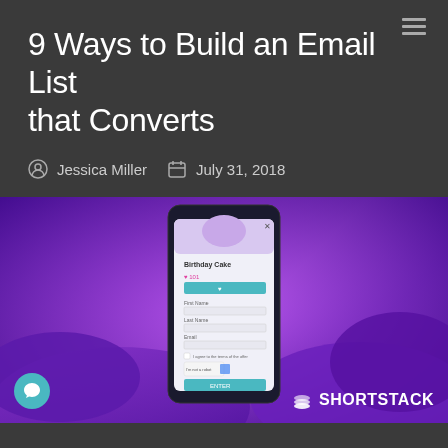9 Ways to Build an Email List that Converts
Jessica Miller   July 31, 2018
[Figure (photo): Hands holding a smartphone showing a 'Birthday Cake' contest/form app with fields for First Name, Last Name, Email, and a Submit button, overlaid with a purple tint. ShortStack logo visible in bottom right corner.]